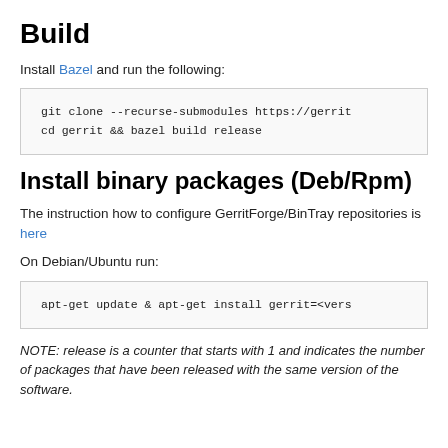Build
Install Bazel and run the following:
git clone --recurse-submodules https://gerrit
cd gerrit && bazel build release
Install binary packages (Deb/Rpm)
The instruction how to configure GerritForge/BinTray repositories is here
On Debian/Ubuntu run:
apt-get update & apt-get install gerrit=<vers
NOTE: release is a counter that starts with 1 and indicates the number of packages that have been released with the same version of the software.